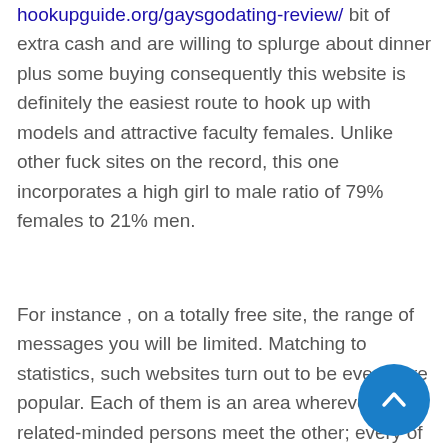hookupguide.org/gaysgodating-review/ bit of extra cash and are willing to splurge about dinner plus some buying consequently this website is definitely the easiest route to hook up with models and attractive faculty females. Unlike other fuck sites on the record, this one incorporates a high girl to male ratio of 79% females to 21% men.
For instance , on a totally free site, the range of messages you will be limited. Matching to statistics, such websites turn out to be ever more popular. Each of them is an area wherever related-minded persons meet the other; every of them is friendly neighborhood devoid of judgments and prejudice. The trick should be to search